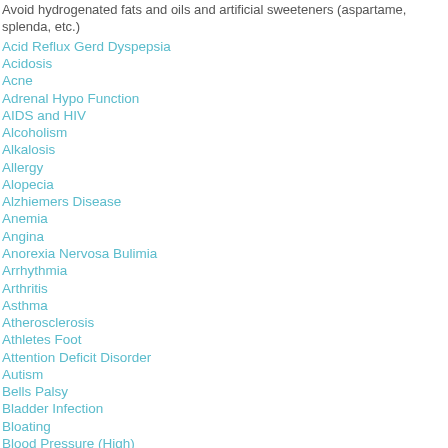Avoid hydrogenated fats and oils and artificial sweeteners (aspartame, splenda, etc.)
Acid Reflux Gerd Dyspepsia
Acidosis
Acne
Adrenal Hypo Function
AIDS and HIV
Alcoholism
Alkalosis
Allergy
Alopecia
Alzhiemers Disease
Anemia
Angina
Anorexia Nervosa Bulimia
Arrhythmia
Arthritis
Asthma
Atherosclerosis
Athletes Foot
Attention Deficit Disorder
Autism
Bells Palsy
Bladder Infection
Bloating
Blood Pressure (High)
Blood Pressure (Low)
Blood Shot Eyes
Body Odor
Boils
Bone Healing
Bone Spur
Bowel Dysfunction
Breast enlargement